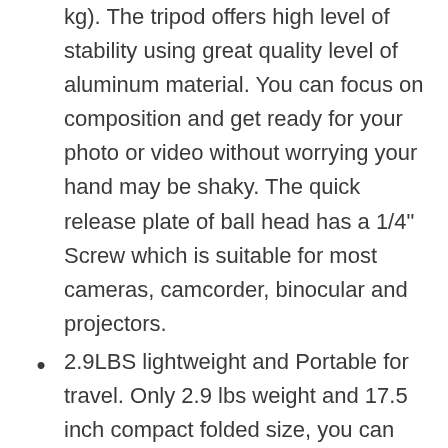kg). The tripod offers high level of stability using great quality level of aluminum material. You can focus on composition and get ready for your photo or video without worrying your hand may be shaky. The quick release plate of ball head has a 1/4" Screw which is suitable for most cameras, camcorder, binocular and projectors.
2.9LBS lightweight and Portable for travel. Only 2.9 lbs weight and 17.5 inch compact folded size, you can easily take it in the included carry bag to anywhere for outdoor shooting. This lightweight tripod is a great companion for your long trip. In addition, the tripod can be detached as a